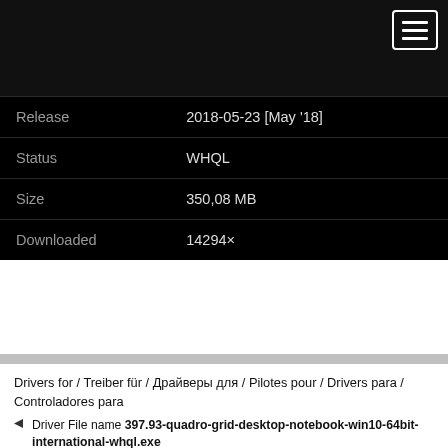[Figure (screenshot): Black navigation header bar with hamburger menu icon (three white lines in white-bordered box) in top right corner]
| Release | 2018-05-23 [May '18] |
| Status | WHQL |
| Size | 350,08 MB |
| Downloaded | 14294× |
Drivers for / Treiber für / Драйверы для / Pilotes pour / Drivers para / Controladores para
Driver File name 397.93-quadro-grid-desktop-notebook-win10-64bit-international-whql.exe
Intended for your PC desktop and Windows 10 (64bit) and:
More info
A list of 93 supported graphics cards
Some questions for this driver? Check out our forum!